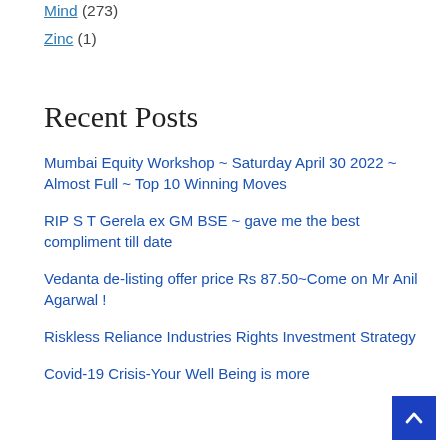Mind (273)
Zinc (1)
Recent Posts
Mumbai Equity Workshop ~ Saturday April 30 2022 ~ Almost Full ~ Top 10 Winning Moves
RIP S T Gerela ex GM BSE ~ gave me the best compliment till date
Vedanta de-listing offer price Rs 87.50~Come on Mr Anil Agarwal !
Riskless Reliance Industries Rights Investment Strategy
Covid-19 Crisis-Your Well Being is more